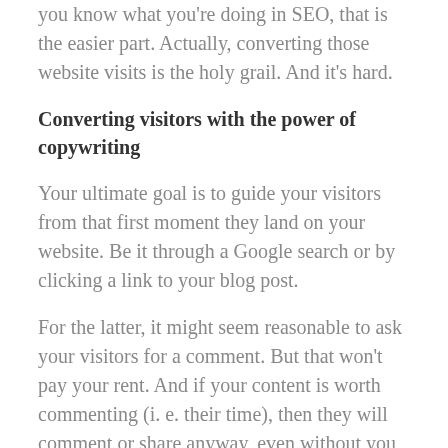you know what you're doing in SEO, that is the easier part. Actually, converting those website visits is the holy grail. And it's hard.
Converting visitors with the power of copywriting
Your ultimate goal is to guide your visitors from that first moment they land on your website. Be it through a Google search or by clicking a link to your blog post.
For the latter, it might seem reasonable to ask your visitors for a comment. But that won't pay your rent. And if your content is worth commenting (i. e. their time), then they will comment or share anyway, even without you asking them to do so explicitly.